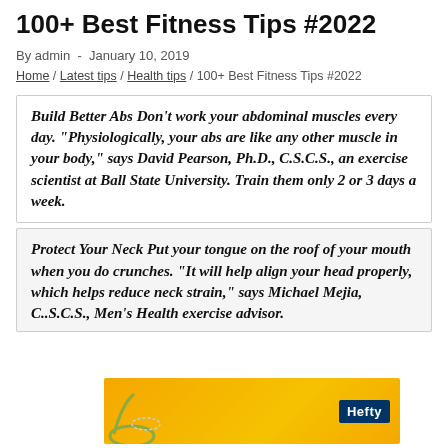100+ Best Fitness Tips #2022
By admin  -  January 10, 2019
Home / Latest tips / Health tips / 100+ Best Fitness Tips #2022
Build Better Abs Don't work your abdominal muscles every day. "Physiologically, your abs are like any other muscle in your body," says David Pearson, Ph.D., C.S.C.S., an exercise scientist at Ball State University. Train them only 2 or 3 days a week.
Protect Your Neck Put your tongue on the roof of your mouth when you do crunches. "It will help align your head properly, which helps reduce neck strain," says Michael Mejia, C..S.C.S., Men's Health exercise advisor.
[Figure (other): Advertisement banner with orange background, Hefty logo, and decorative graphic element]